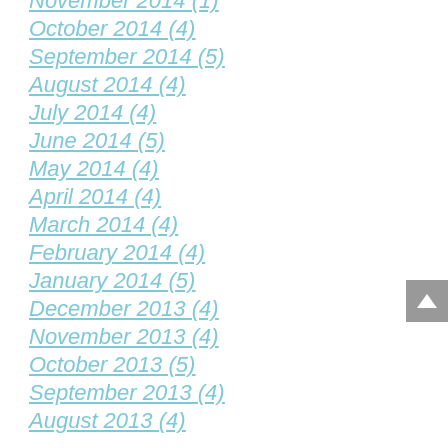November 2014 (1)
October 2014 (4)
September 2014 (5)
August 2014 (4)
July 2014 (4)
June 2014 (5)
May 2014 (4)
April 2014 (4)
March 2014 (4)
February 2014 (4)
January 2014 (5)
December 2013 (4)
November 2013 (4)
October 2013 (5)
September 2013 (4)
August 2013 (4)